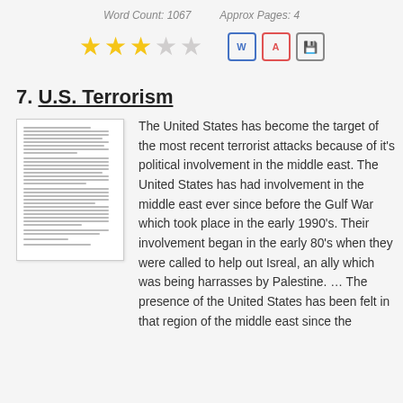Word Count: 1067    Approx Pages: 4
[Figure (other): 3 filled gold stars and 2 empty stars rating, plus Word, PDF, and Save icon buttons]
7. U.S. Terrorism
[Figure (other): Thumbnail preview of a text document page]
The United States has become the target of the most recent terrorist attacks because of it's political involvement in the middle east. The United States has had involvement in the middle east ever since before the Gulf War which took place in the early 1990's. Their involvement began in the early 80's when they were called to help out Isreal, an ally which was being harrasses by Palestine. … The presence of the United States has been felt in that region of the middle east since the